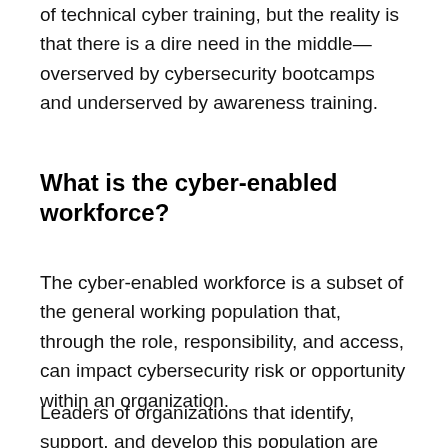of technical cyber training, but the reality is that there is a dire need in the middle—overserved by cybersecurity bootcamps and underserved by awareness training.
What is the cyber-enabled workforce?
The cyber-enabled workforce is a subset of the general working population that, through the role, responsibility, and access, can impact cybersecurity risk or opportunity within an organization.
Leaders of organizations that identify, support, and develop this population are